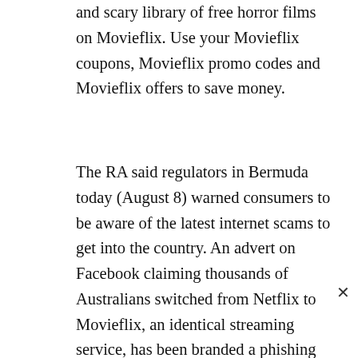and scary library of free horror films on Movieflix. Use your Movieflix coupons, Movieflix promo codes and Movieflix offers to save money.
The RA said regulators in Bermuda today (August 8) warned consumers to be aware of the latest internet scams to get into the country. An advert on Facebook claiming thousands of Australians switched from Netflix to Movieflix, an identical streaming service, has been branded a phishing scam by consumer advocates. Movieflix is an online movie service that features in Facebook ads and Netflix is making the service available free to consumers who subscribe to it through August